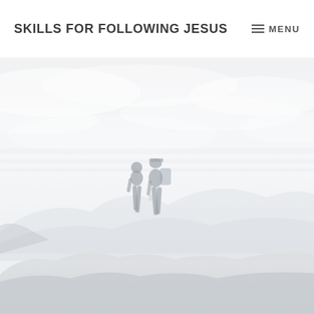SKILLS FOR FOLLOWING JESUS | MENU
[Figure (photo): Two silhouetted hikers with backpacks standing on a rocky ridge against a pale overcast sky, mist and mountains in the background. Image is very light/faded with a white/grey tone.]